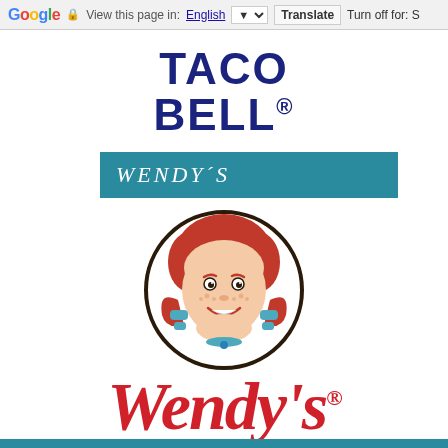Google  View this page in: English  Translate  Turn off for: S
[Figure (logo): Taco Bell logo in dark navy blue bold uppercase text]
WENDY´S
[Figure (logo): Wendy's logo: circular mascot illustration of a red-haired girl with freckles and blue hair accessories, above red cursive Wendy's script wordmark with registered trademark symbol]